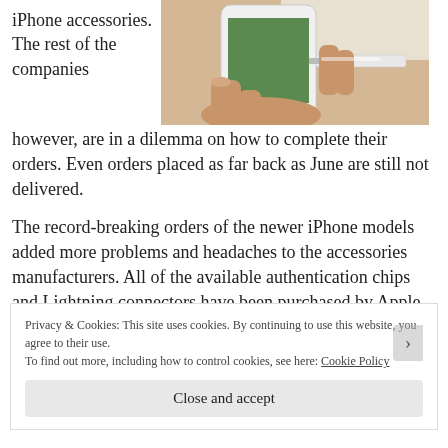iPhone accessories. The rest of the companies however, are in a dilemma on how to complete their orders. Even orders placed as far back as June are still not delivered.
[Figure (photo): A hand holding an iPhone with a Lightning connector cable being plugged in]
The record-breaking orders of the newer iPhone models added more problems and headaches to the accessories manufacturers. All of the available authentication chips and Lightning connectors have been purchased by Apple, affecting its Made-for-iPhone licensing program.
Privacy & Cookies: This site uses cookies. By continuing to use this website, you agree to their use.
To find out more, including how to control cookies, see here: Cookie Policy
Close and accept